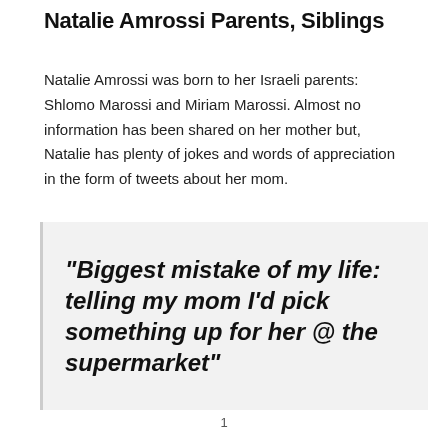Natalie Amrossi Parents, Siblings
Natalie Amrossi was born to her Israeli parents: Shlomo Marossi and Miriam Marossi. Almost no information has been shared on her mother but, Natalie has plenty of jokes and words of appreciation in the form of tweets about her mom.
“Biggest mistake of my life: telling my mom I’d pick something up for her @ the supermarket”
1